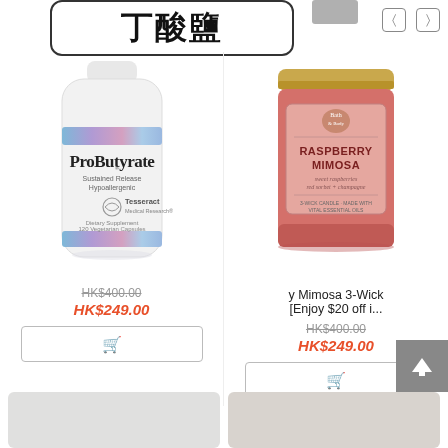丁酸鹽
[Figure (photo): White bottle of ProButyrate supplement by Tesseract Medical Research, Sustained Release Hypoallergenic, Dietary Supplement, 120 Vegetarian Capsules]
HK$400.00 (strikethrough original price)
HK$249.00 (sale price in red)
[Figure (photo): Pink candle jar with gold lid labeled Raspberry Mimosa, sweet raspberries, red sorbet + champagne, 3-wick candle]
y Mimosa 3-Wick [Enjoy $20 off i...
HK$400.00 (strikethrough original price)
HK$249.00 (sale price in red)